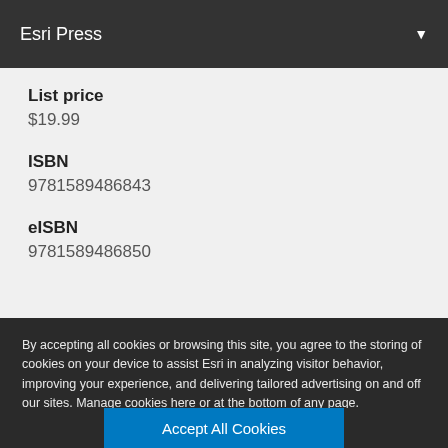Esri Press
List price
$19.99
ISBN
9781589486843
eISBN
9781589486850
By accepting all cookies or browsing this site, you agree to the storing of cookies on your device to assist Esri in analyzing visitor behavior, improving your experience, and delivering tailored advertising on and off our sites. Manage cookies here or at the bottom of any page.
Accept All Cookies